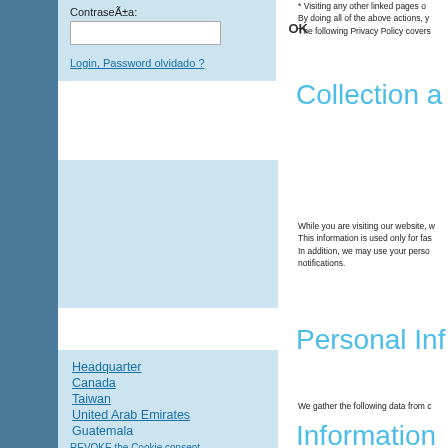ContraseÃ±a:
Login, Password olvidado ?
* Visiting any other linked pages o
By doing all of the above actions, y
The following Privacy Policy covers
Collection a
While you are visiting our website, w
This information is used only for fas
In addition, we may use your perso
notifications.
Personal Inf
We gather the following data from c
Information
Headquarter
Canada
Taiwan
United Arab Emirates
Guatemala
REVOKE the Cookie consent